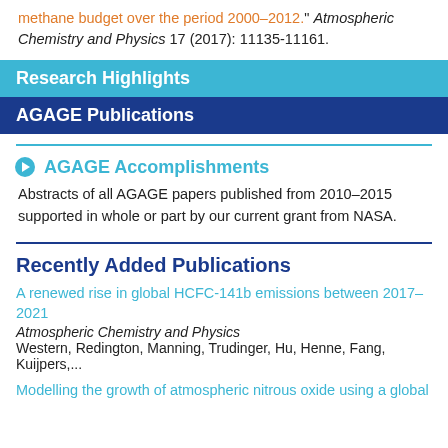methane budget over the period 2000–2012." Atmospheric Chemistry and Physics 17 (2017): 11135-11161.
Research Highlights
AGAGE Publications
AGAGE Accomplishments
Abstracts of all AGAGE papers published from 2010–2015 supported in whole or part by our current grant from NASA.
Recently Added Publications
A renewed rise in global HCFC-141b emissions between 2017–2021
Atmospheric Chemistry and Physics
Western, Redington, Manning, Trudinger, Hu, Henne, Fang, Kuijpers,...
Modelling the growth of atmospheric nitrous oxide using a global